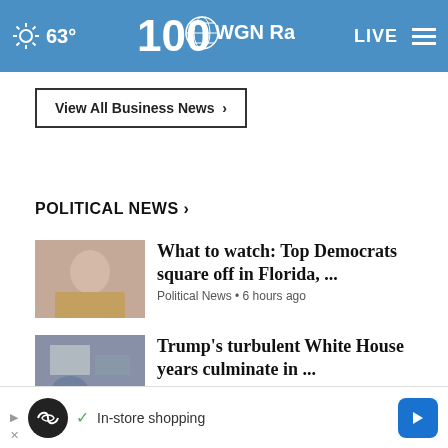63° WGN Radio 100 LIVE
View All Business News ›
POLITICAL NEWS ›
What to watch: Top Democrats square off in Florida, ... Political News • 6 hours ago
Trump's turbulent White House years culminate in ... Political News • 27 mins ago
Indiana governor in Taiwan following high-profile ... International • 6 hours ago
Most voters in new poll say...
✓ In-store shopping